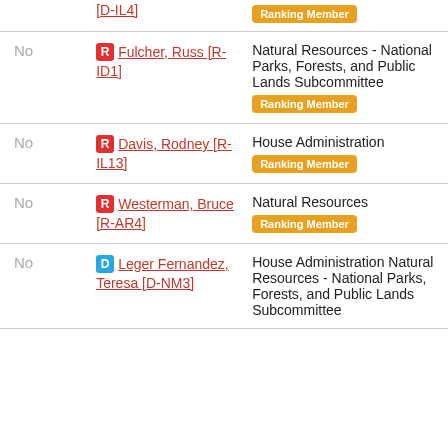| Vote | Member | Committee |
| --- | --- | --- |
| No | Fulcher, Russ [R-ID1] | Natural Resources - National Parks, Forests, and Public Lands Subcommittee | Ranking Member |
| No | Davis, Rodney [R-IL13] | House Administration | Ranking Member |
| No | Westerman, Bruce [R-AR4] | Natural Resources | Ranking Member |
| No | Leger Fernandez, Teresa [D-NM3] | House Administration Natural Resources - National Parks, Forests, and Public Lands Subcommittee |